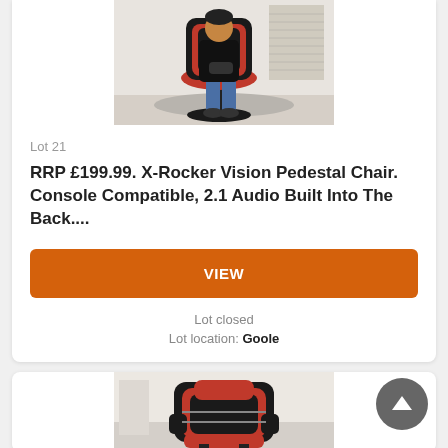[Figure (photo): Person sitting in a black and red X-Rocker gaming pedestal chair, holding a game controller, in a bright room with blinds in background]
Lot 21
RRP £199.99. X-Rocker Vision Pedestal Chair. Console Compatible, 2.1 Audio Built Into The Back....
VIEW
Lot closed
Lot location: Goole
[Figure (photo): Red and black gaming recliner chair with grey accents, shown in a room setting]